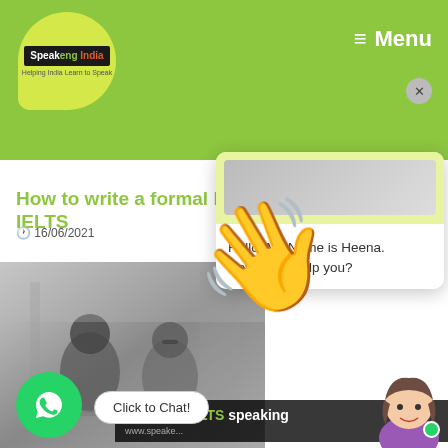[Figure (logo): Speakeng India logo — yellow speech bubble with black/green logo text]
≡ Menu
How to write a formal letter for IELTS
16/06/2021
[Figure (photo): Grayscale photo of two people in a business meeting setting]
[Figure (illustration): Waving hand emoji (yellow)]
[Figure (screenshot): Chat popup with avatar, wave emoji, and message: Hello. My Name is Heena. How Can i help you?]
Guide to IELTS speaking
Click to Chat!
[Figure (illustration): WhatsApp icon button (green circle with phone)]
[Figure (illustration): Chatbot avatar — woman with brown hair in purple top]